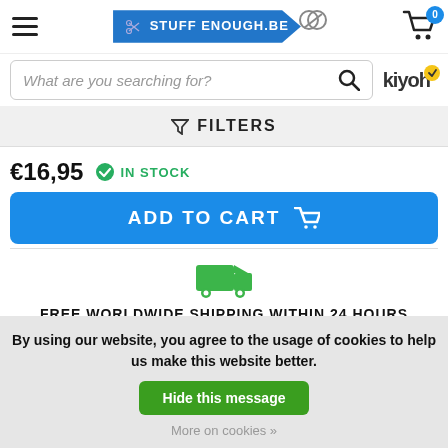[Figure (screenshot): E-commerce website header with hamburger menu, StuffEnough.be logo, and shopping cart with badge showing 0]
[Figure (screenshot): Search bar with placeholder text 'What are you searching for?' and magnifier icon, kiyoh logo with checkmark badge]
FILTERS
€16,95   IN STOCK
ADD TO CART
[Figure (illustration): Green truck delivery icon]
FREE WORLDWIDE SHIPPING WITHIN 24 HOURS
By using our website, you agree to the usage of cookies to help us make this website better.
Hide this message
More on cookies »